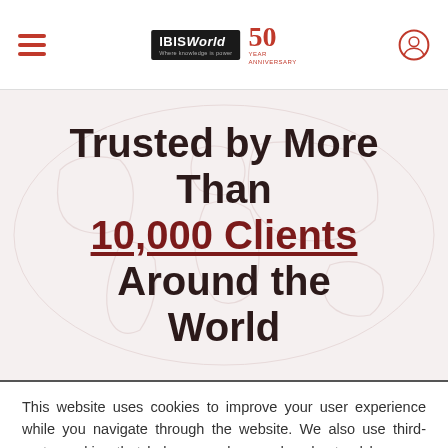IBISWorld 50th Anniversary header with hamburger menu and user icon
Trusted by More Than 10,000 Clients Around the World
This website uses cookies to improve your user experience while you navigate through the website. We also use third-party cookies that help us analyze and understand how you use this website. By continuing to use this website you agree to the use of these technologies. LEARN MORE
ACCEPT